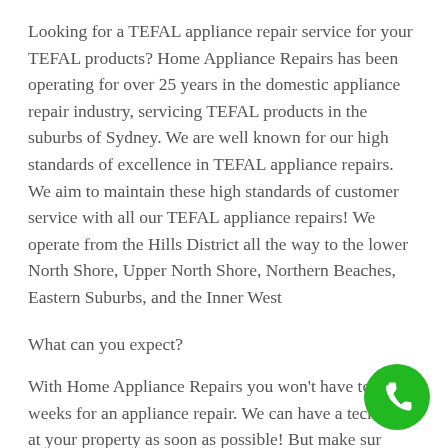Looking for a TEFAL appliance repair service for your TEFAL products? Home Appliance Repairs has been operating for over 25 years in the domestic appliance repair industry, servicing TEFAL products in the suburbs of Sydney. We are well known for our high standards of excellence in TEFAL appliance repairs. We aim to maintain these high standards of customer service with all our TEFAL appliance repairs! We operate from the Hills District all the way to the lower North Shore, Upper North Shore, Northern Beaches, Eastern Suburbs, and the Inner West
What can you expect?
With Home Appliance Repairs you won't have to wait 3 weeks for an appliance repair. We can have a technician at your property as soon as possible! But make sure your phone isn't on silent, as our technicians always call prior